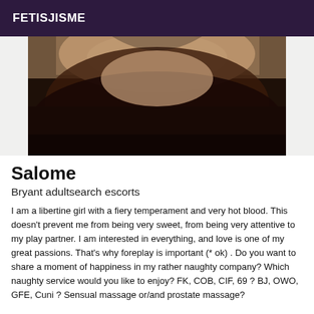FETISJISME
[Figure (photo): Woman in black lingerie and stockings posed on dark leather furniture, photo cropped at torso level]
Salome
Bryant adultsearch escorts
I am a libertine girl with a fiery temperament and very hot blood. This doesn't prevent me from being very sweet, from being very attentive to my play partner. I am interested in everything, and love is one of my great passions. That's why foreplay is important (* ok) . Do you want to share a moment of happiness in my rather naughty company? Which naughty service would you like to enjoy? FK, COB, CIF, 69 ? BJ, OWO, GFE, Cuni ? Sensual massage or/and prostate massage?